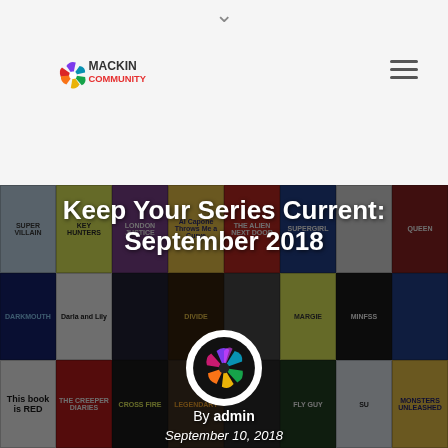Mackin Community
Keep Your Series Current: September 2018
[Figure (illustration): Collage of children's and young adult book covers serving as background image]
[Figure (logo): Mackin Community pinwheel logo circle in center of collage]
By admin
September 10, 2018